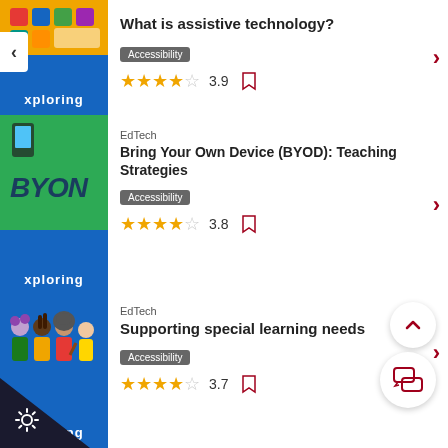[Figure (screenshot): Course thumbnail for 'What is assistive technology?' - blue background with orange top section and xploring label]
What is assistive technology?
Accessibility
3.9
[Figure (screenshot): Course thumbnail for BYOD - blue background with green top showing BYON text and xploring label]
EdTech
Bring Your Own Device (BYOD): Teaching Strategies
Accessibility
3.8
[Figure (screenshot): Course thumbnail - blue background with illustrated diverse people group and xploring label]
EdTech
Supporting special learning needs
Accessibility
3.7